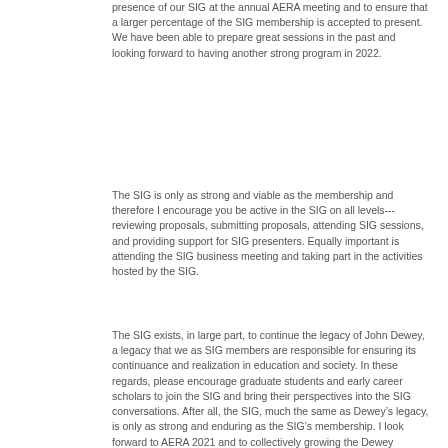presence of our SIG at the annual AERA meeting and to ensure that a larger percentage of the SIG membership is accepted to present. We have been able to prepare great sessions in the past and looking forward to having another strong program in 2022.
The SIG is only as strong and viable as the membership and therefore I encourage you be active in the SIG on all levels---reviewing proposals, submitting proposals, attending SIG sessions, and providing support for SIG presenters. Equally important is attending the SIG business meeting and taking part in the activities hosted by the SIG.
The SIG exists, in large part, to continue the legacy of John Dewey, a legacy that we as SIG members are responsible for ensuring its continuance and realization in education and society. In these regards, please encourage graduate students and early career scholars to join the SIG and bring their perspectives into the SIG conversations. After all, the SIG, much the same as Dewey’s legacy, is only as strong and enduring as the SIG’s membership. I look forward to AERA 2021 and to collectively growing the Dewey Studies SIG membership, renewing and revitalizing our commitments.
Respectfully,